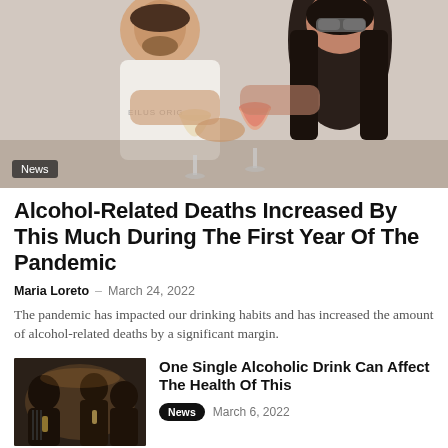[Figure (photo): Two people clinking wine glasses and laughing, in a casual indoor setting. Man in white t-shirt on left, woman with long dark hair and sunglasses on right.]
News
Alcohol-Related Deaths Increased By This Much During The First Year Of The Pandemic
Maria Loreto – March 24, 2022
The pandemic has impacted our drinking habits and has increased the amount of alcohol-related deaths by a significant margin.
[Figure (photo): Group of people in a dark setting holding drinks, socializing.]
One Single Alcoholic Drink Can Affect The Health Of This
News   March 6, 2022